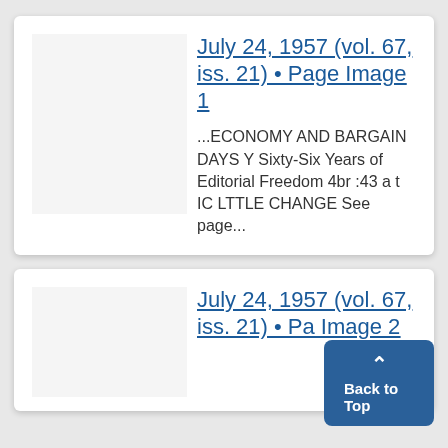July 24, 1957 (vol. 67, iss. 21) • Page Image 1
...ECONOMY AND BARGAIN DAYS Y Sixty-Six Years of Editorial Freedom 4br :43 a t IC LTTLE CHANGE See page...
July 24, 1957 (vol. 67, iss. 21) • Page Image 2